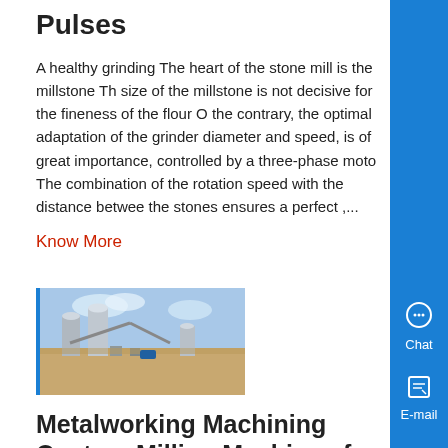Pulses
A healthy grinding The heart of the stone mill is the millstone The size of the millstone is not decisive for the fineness of the flour On the contrary, the optimal adaptation of the grinder diameter and speed, is of great importance, controlled by a three-phase motor The combination of the rotation speed with the distance between the stones ensures a perfect ,...
Know More
[Figure (photo): Outdoor industrial facility with large silos and machinery, photographed from an aerial or elevated angle on a dirt terrain under a partly cloudy sky.]
Metalworking Machining Centers Milling Machines for sale ,
45 out of 5 stars 4 4 product ratings - 58Pcs T-Slot Clamp Kit M